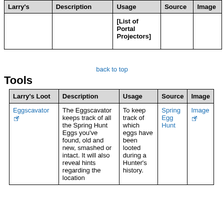| Larry's | Description | Usage | Source | Image |
| --- | --- | --- | --- | --- |
|  |  | [List of Portal Projectors] |  |  |
back to top
Tools
| Larry's Loot | Description | Usage | Source | Image |
| --- | --- | --- | --- | --- |
| Eggscavator [ext] | The Eggscavator keeps track of all the Spring Hunt Eggs you've found, old and new, smashed or intact. It will also reveal hints regarding the location | To keep track of which eggs have been looted during a Hunter's history. | Spring Egg Hunt | Image [ext] |